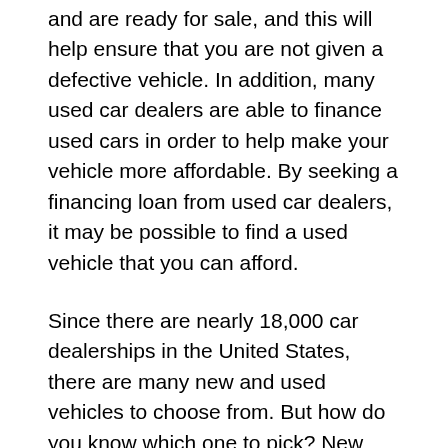and are ready for sale, and this will help ensure that you are not given a defective vehicle. In addition, many used car dealers are able to finance used cars in order to help make your vehicle more affordable. By seeking a financing loan from used car dealers, it may be possible to find a used vehicle that you can afford.
Since there are nearly 18,000 car dealerships in the United States, there are many new and used vehicles to choose from. But how do you know which one to pick? New vehicles give you the freedom to choose exactly what you want, but used cars are typically a more affordable option. By determining which factors are most important, it will become easier to find the vehicle that is best